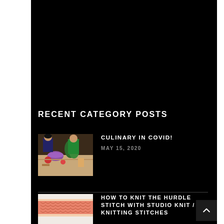[Figure (photo): Large black background area at top of page — appears to be a dark hero/banner image region]
RECENT CATEGORY POSTS
[Figure (photo): Thumbnail photo of people cooking/preparing food at a culinary class with colorful bowls and vegetables on table]
CULINARY IN COVID!
MAY 15, 2020
[Figure (photo): Thumbnail photo of knitting needles with salmon/pink yarn showing knit stitch pattern]
HOW TO KNIT THE HURDLE STITCH WITH STUDIO KNIT / KNITTING STITCHES